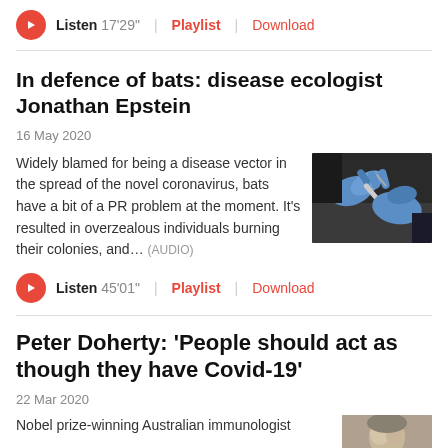Listen 17'29" | Playlist | Download
In defence of bats: disease ecologist Jonathan Epstein
16 May 2020
Widely blamed for being a disease vector in the spread of the novel coronavirus, bats have a bit of a PR problem at the moment. It's resulted in overzealous individuals burning their colonies, and... (AUDIO)
[Figure (photo): Photo of gloved hands handling a syringe or medical instrument, likely related to bat research or coronavirus.]
Listen 45'01" | Playlist | Download
Peter Doherty: 'People should act as though they have Covid-19'
22 Mar 2020
Nobel prize-winning Australian immunologist
[Figure (photo): Partial photo thumbnail of a person, likely Peter Doherty.]